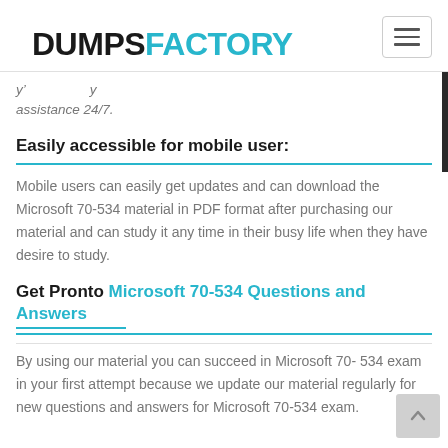DUMPSFACTORY
assistance 24/7.
Easily accessible for mobile user:
Mobile users can easily get updates and can download the Microsoft 70-534 material in PDF format after purchasing our material and can study it any time in their busy life when they have desire to study.
Get Pronto Microsoft 70-534 Questions and Answers
By using our material you can succeed in Microsoft 70-534 exam in your first attempt because we update our material regularly for new questions and answers for Microsoft 70-534 exam.